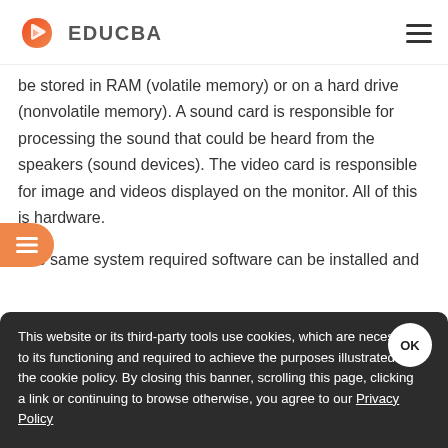EDUCBA
be stored in RAM (volatile memory) or on a hard drive (nonvolatile memory). A sound card is responsible for processing the sound that could be heard from the speakers (sound devices). The video card is responsible for image and videos displayed on the monitor. All of this is hardware.
The same system required software can be installed and
This website or its third-party tools use cookies, which are necessary to its functioning and required to achieve the purposes illustrated in the cookie policy. By closing this banner, scrolling this page, clicking a link or continuing to browse otherwise, you agree to our Privacy Policy